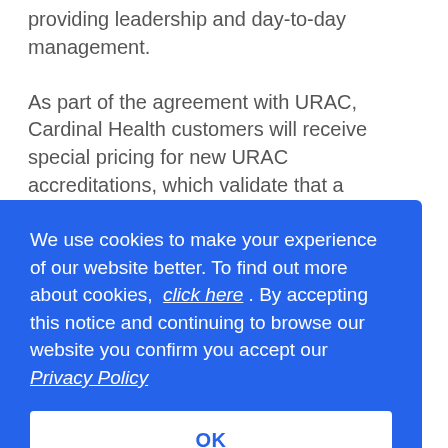providing leadership and day-to-day management. As part of the agreement with URAC, Cardinal Health customers will receive special pricing for new URAC accreditations, which validate that a pharmacy meets the most rigorous standards in the industry and demonstrates the value of the clinical services it
[Figure (screenshot): Cookie consent overlay popup with blue background. Text reads: 'We use cookies to make your experience of our website better. To find out more about cookies, click here . By accepting this notice and continuing to browse our website you confirm you accept our Privacy Policy'. Contains an OK button with white background and blue text.]
Slavens, senior vice president and general manager